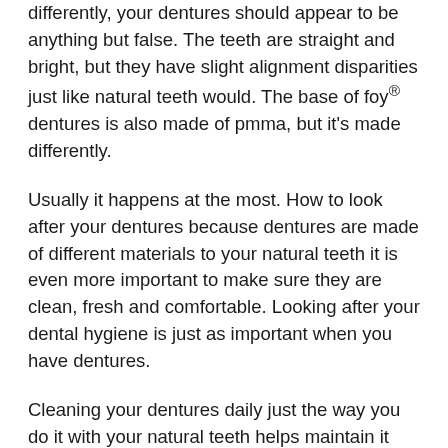differently, your dentures should appear to be anything but false. The teeth are straight and bright, but they have slight alignment disparities just like natural teeth would. The base of foy® dentures is also made of pmma, but it's made differently.
Usually it happens at the most. How to look after your dentures because dentures are made of different materials to your natural teeth it is even more important to make sure they are clean, fresh and comfortable. Looking after your dental hygiene is just as important when you have dentures.
Cleaning your dentures daily just the way you do it with your natural teeth helps maintain it hygienically. Dentures, or false teeth, can look similar to your natural. Complete dentures cover the vacant space and make the lines fade.